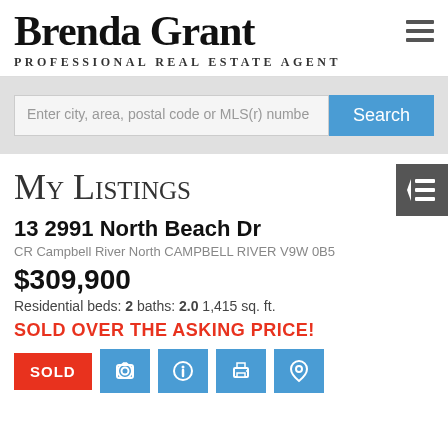Brenda Grant PROFESSIONAL REAL ESTATE AGENT
Enter city, area, postal code or MLS(r) numbe
My Listings
13 2991 North Beach Dr
CR Campbell River North CAMPBELL RIVER V9W 0B5
$309,900
Residential beds: 2 baths: 2.0 1,415 sq. ft.
SOLD OVER THE ASKING PRICE!
SOLD